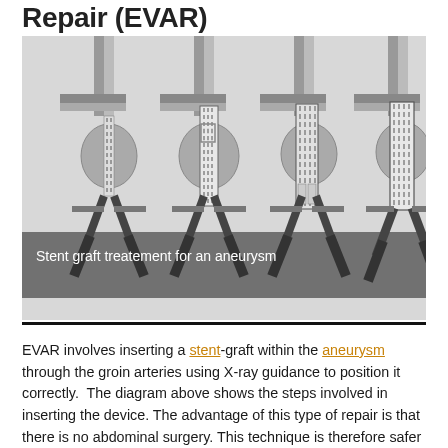Repair (EVAR)
[Figure (illustration): Four-panel diagram showing the sequential steps of stent graft (EVAR) insertion into an aortic aneurysm via groin arteries, with cross-shaped vessel anatomy and expanding stent graft device shown in each stage.]
Stent graft treatement for an aneurysm
EVAR involves inserting a stent-graft within the aneurysm through the groin arteries using X-ray guidance to position it correctly.  The diagram above shows the steps involved in inserting the device. The advantage of this type of repair is that there is no abdominal surgery. This technique is therefore safer than the traditional operation, and you need to spend less time in hospital. A disadvantage is that